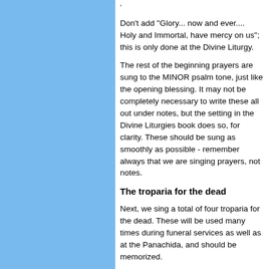'
Don't add "Glory... now and ever.... Holy and Immortal, have mercy on us"; this is only done at the Divine Liturgy.
The rest of the beginning prayers are sung to the MINOR psalm tone, just like the opening blessing. It may not be completely necessary to write these all out under notes, but the setting in the Divine Liturgies book does so, for clarity. These should be sung as smoothly as possible - remember always that we are singing prayers, not notes.
The troparia for the dead
Next, we sing a total of four troparia for the dead. These will be used many times during funeral services as well as at the Panachida, and should be memorized.
First troparion: